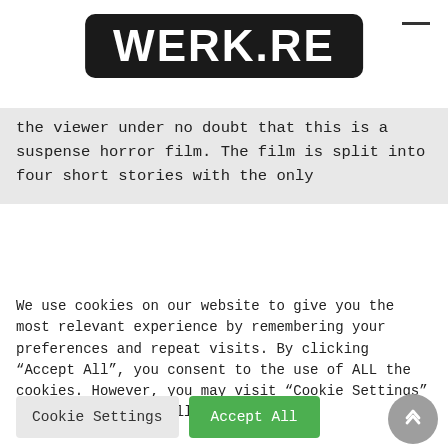[Figure (logo): WERK.RE logo — white bold text on black rounded rectangle background]
the viewer under no doubt that this is a suspense horror film. The film is split into four short stories with the only
We use cookies on our website to give you the most relevant experience by remembering your preferences and repeat visits. By clicking “Accept All”, you consent to the use of ALL the cookies. However, you may visit “Cookie Settings” to provide a controlled consent.
Cookie Settings | Accept All